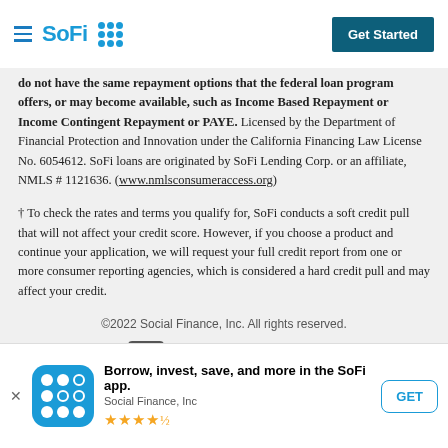SoFi — Get Started
do not have the same repayment options that the federal loan program offers, or may become available, such as Income Based Repayment or Income Contingent Repayment or PAYE. Licensed by the Department of Financial Protection and Innovation under the California Financing Law License No. 6054612. SoFi loans are originated by SoFi Lending Corp. or an affiliate, NMLS # 1121636. (www.nmlsconsumeraccess.org)
† To check the rates and terms you qualify for, SoFi conducts a soft credit pull that will not affect your credit score. However, if you choose a product and continue your application, we will request your full credit report from one or more consumer reporting agencies, which is considered a hard credit pull and may affect your credit.
©2022 Social Finance, Inc. All rights reserved.
[Figure (logo): Equal Housing Lender logo with house icon]
[Figure (logo): Norton Secured badge and TLS 1.2 shield icon]
Borrow, invest, save, and more in the SoFi app. Social Finance, Inc ★★★★½